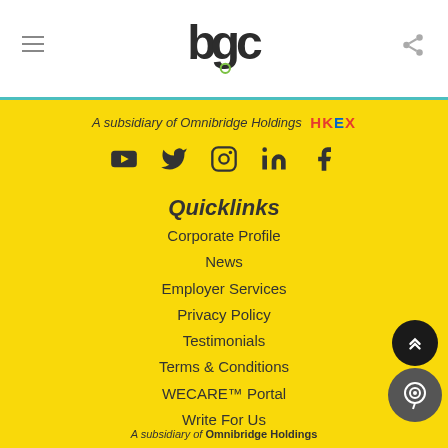[Figure (logo): BGC logo in dark text with colored circles]
A subsidiary of Omnibridge Holdings HKEX
[Figure (infographic): Social media icons: YouTube, Twitter, Instagram, LinkedIn, Facebook]
Quicklinks
Corporate Profile
News
Employer Services
Privacy Policy
Testimonials
Terms & Conditions
WECARE™ Portal
Write For Us
A subsidiary of Omnibridge Holdings